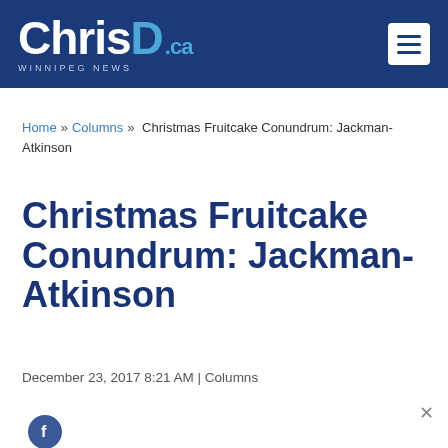ChrisD.ca WINNIPEG NEWS
Home » Columns » Christmas Fruitcake Conundrum: Jackman-Atkinson
Christmas Fruitcake Conundrum: Jackman-Atkinson
December 23, 2017 8:21 AM | Columns
[Figure (photo): Advertisement banner: man's photo with text 'I'm proud our hog sector contributes 14,000 local jobs to meet the global demand for world-class pork.' with Manitoba Pork logo]